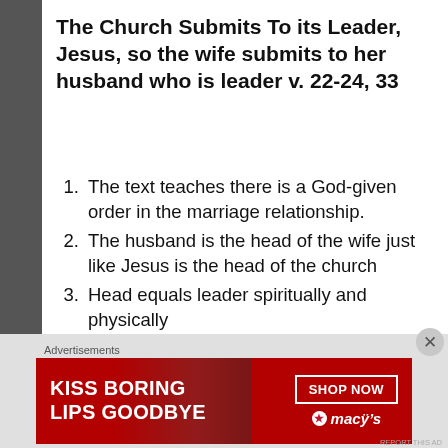The Church Submits To its Leader, Jesus, so the wife submits to her husband who is leader v. 22-24, 33
The text teaches there is a God-given order in the marriage relationship.
The husband is the head of the wife just like Jesus is the head of the church
Head equals leader spiritually and physically
Reject passivity
Lead courageously
Accept responsibility
Expect God’s reward not man’s
[Figure (infographic): Advertisement banner: red background with text 'KISS BORING LIPS GOODBYE' and 'SHOP NOW' button with Macy's star logo branding]